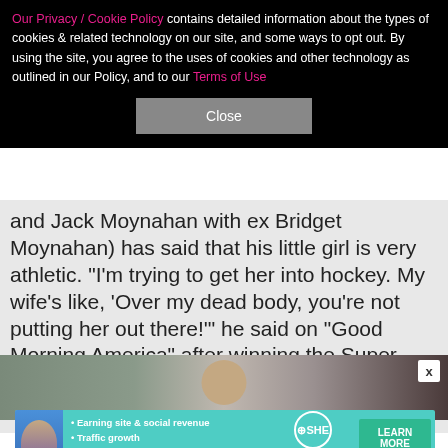Our Privacy / Cookie Policy contains detailed information about the types of cookies & related technology on our site, and some ways to opt out. By using the site, you agree to the uses of cookies and other technology as outlined in our Policy, and to our Terms of Use
Close
and Jack Moynahan with ex Bridget Moynahan) has said that his little girl is very athletic. "I'm trying to get her into hockey. My wife's like, 'Over my dead body, you're not putting her out there!'" he said on "Good Morning America" after winning the Super Bowl in 2019. "She's not gonna be getting checked or anything!"
[Figure (photo): Partial photo of a woman with dark hair, background shows blurred elements]
[Figure (infographic): SHE Partner Network advertisement banner. Bullet points: Earning site & social revenue, Traffic growth, Speaking on our stages. SHE Partner Network logo. LEARN MORE button. BECOME A MEMBER text.]